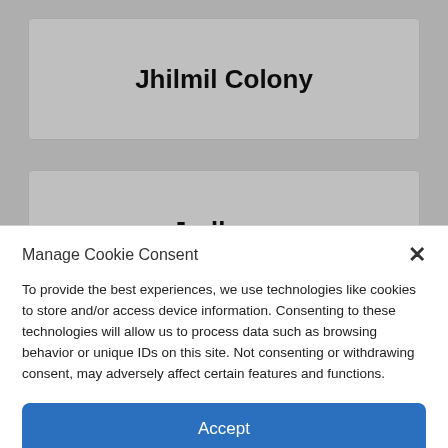Jhilmil Colony
Jodhpur
Manage Cookie Consent
To provide the best experiences, we use technologies like cookies to store and/or access device information. Consenting to these technologies will allow us to process data such as browsing behavior or unique IDs on this site. Not consenting or withdrawing consent, may adversely affect certain features and functions.
Accept
Cookie Policy